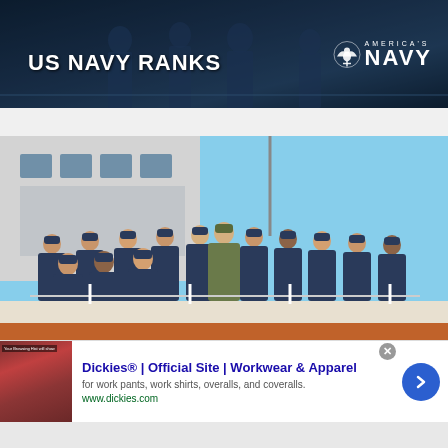[Figure (photo): US Navy Ranks banner with dark navy background showing naval personnel silhouettes, title 'US NAVY RANKS' in bold white text on left, and America's Navy logo on right with eagle emblem]
[Figure (photo): Group photo of US Coast Guard personnel in blue uniforms standing on a boat deck with a white ship behind them, one person in center wearing camouflage Navy uniform, bright blue sky background]
[Figure (other): Advertisement banner for Dickies workwear: thumbnail image of red/brown interior on left, ad title 'Dickies® | Official Site | Workwear & Apparel', description 'for work pants, work shirts, overalls, and coveralls.', URL www.dickies.com, blue circular arrow button on right, close X button top right]